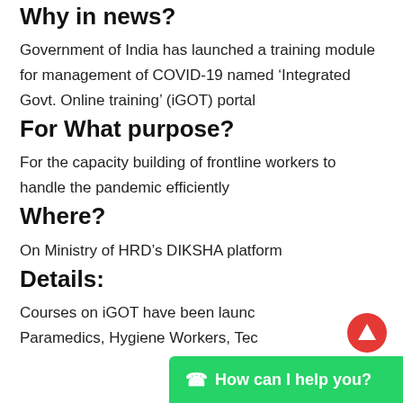Why in news?
Government of India has launched a training module for management of COVID-19 named ‘Integrated Govt. Online training’ (iGOT) portal
For What purpose?
For the capacity building of frontline workers to handle the pandemic efficiently
Where?
On Ministry of HRD’s DIKSHA platform
Details:
Courses on iGOT have been launched for Paramedics, Hygiene Workers, Tec...